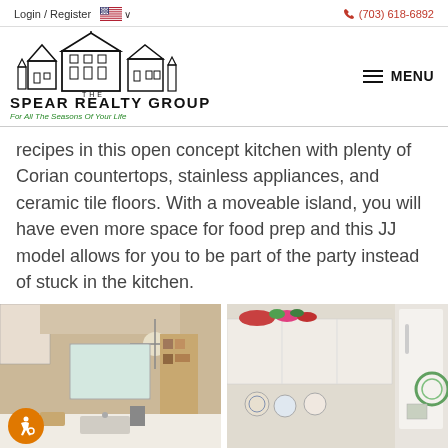Login / Register  🇺🇸 ∨   (703) 618-6892
[Figure (logo): The Spear Realty Group logo with house silhouette illustration. Text: THE SPEAR REALTY GROUP / For All The Seasons Of Your Life]
recipes in this open concept kitchen with plenty of Corian countertops, stainless appliances, and ceramic tile floors. With a moveable island, you will have even more space for food prep and this JJ model allows for you to be part of the party instead of stuck in the kitchen.
[Figure (photo): Two kitchen interior photos side by side. Left photo shows kitchen with white countertops, ceiling fan, open shelving with decorative items, and sink. Right photo shows white upper cabinets with flowers on top, refrigerator visible at right. Accessibility icon (orange circle with wheelchair symbol) in bottom-left corner of left photo.]